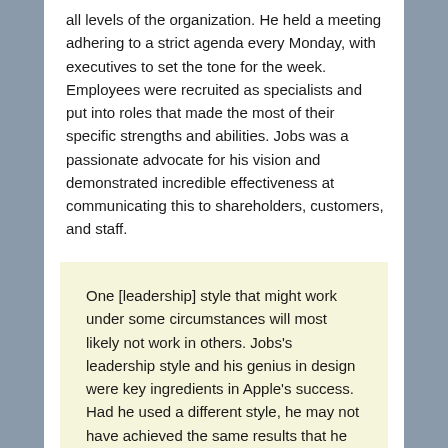all levels of the organization. He held a meeting adhering to a strict agenda every Monday, with executives to set the tone for the week. Employees were recruited as specialists and put into roles that made the most of their specific strengths and abilities. Jobs was a passionate advocate for his vision and demonstrated incredible effectiveness at communicating this to shareholders, customers, and staff.
One [leadership] style that might work under some circumstances will most likely not work in others. Jobs's leadership style and his genius in design were key ingredients in Apple's success. Had he used a different style, he may not have achieved the same results that he did.